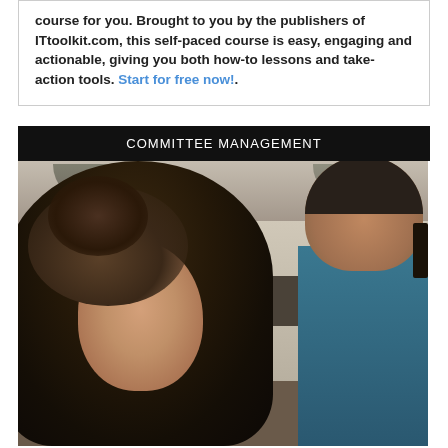course for you. Brought to you by the publishers of ITtoolkit.com, this self-paced course is easy, engaging and actionable, giving you both how-to lessons and take-action tools. Start for free now!.
COMMITTEE MANAGEMENT
[Figure (photo): Two people in a meeting or committee setting. A woman with curly dark hair is in the foreground seen in profile view. A man with dark hair and glasses wearing a teal/blue shirt is partially visible in the background to the right. The image has warm, muted tones with office ceiling/lighting visible at the top.]